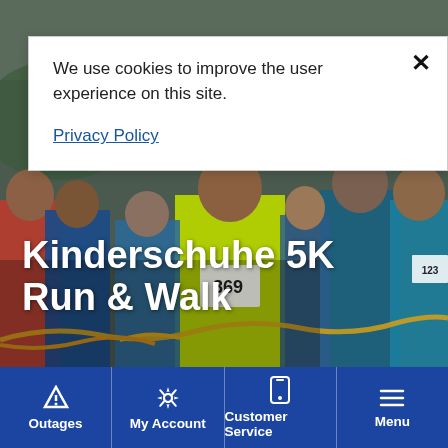We use cookies to improve the user experience on this site.
Privacy Policy
[Figure (photo): Crowd of runners at the start of a 5K race, wearing numbered bibs. A runner in a bright green/yellow shirt with bib number 369 is prominent in the center. Runners wear blue, teal, and red athletic clothing.]
Kinderschuhe 5K Run & Walk
Outages | My Account | Customer Service | Menu